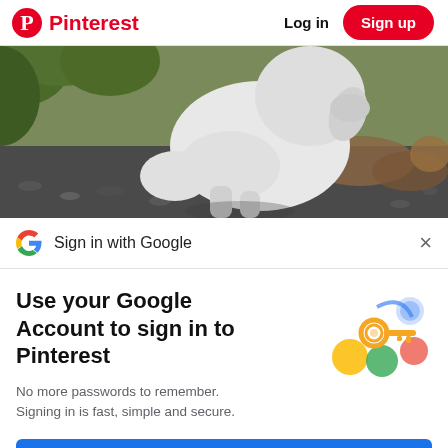Pinterest  Log in  Sign up
[Figure (photo): A white dog photographed from the side, sitting on dark gravel/pebbles with green foliage and brownish ground cover in the background.]
Sign in with Google
Use your Google Account to sign in to Pinterest
No more passwords to remember. Signing in is fast, simple and secure.
[Figure (illustration): Google key illustration showing a golden key overlaid on colorful circular icons (blue, yellow, green, red/pink) representing Google services.]
Continue